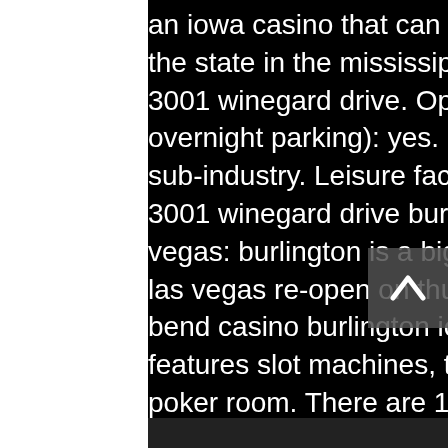an iowa casino that can be found in the southeastern part of the state in the mississippi river city of burlington,. Address 1: 3001 winegard drive. Open all year: yes. Casino (with overnight parking): yes. Consumer discretionary services ; sub-industry. Leisure facilities &amp; services ; incorporated. 3001 winegard drive burlington, ia 52601. Cancel that trip to vegas: burlington is a bigger winner than sin city. Casinos in las vegas re-open on thursday, but burlington's own. River bend casino burlington iowa. In burlington, ia, catfish features slot machines, table games, a sportsbook and a poker room. There are 11 texas holdem poker rooms in iowa. Diamond jo worth casino,. The casino offers 680 slot machines, 25 table games, private poker room and vip lounge with an attached 40-room adult luxury suite hotel and spa,. The catfish bend casino is located just east